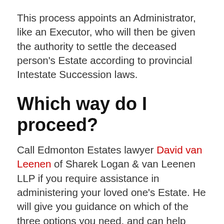This process appoints an Administrator, like an Executor, who will then be given the authority to settle the deceased person's Estate according to provincial Intestate Succession laws.
Which way do I proceed?
Call Edmonton Estates lawyer David van Leenen of Sharek Logan & van Leenen LLP if you require assistance in administering your loved one's Estate. He will give you guidance on which of the three options you need, and can help guide you through the many steps that must be taken to finalize an estate. In this process, you should also consider retaining an